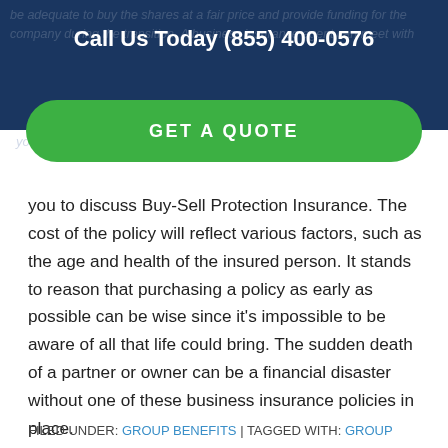Call Us Today (855) 400-0576
[Figure (other): Green rounded button with text GET A QUOTE overlaid on a dark navy banner background with faded italic text about buying shares and providing funding]
you to discuss Buy-Sell Protection Insurance. The cost of the policy will reflect various factors, such as the age and health of the insured person. It stands to reason that purchasing a policy as early as possible can be wise since it's impossible to be aware of all that life could bring. The sudden death of a partner or owner can be a financial disaster without one of these business insurance policies in place.
FILED UNDER: GROUP BENEFITS | TAGGED WITH: GROUP